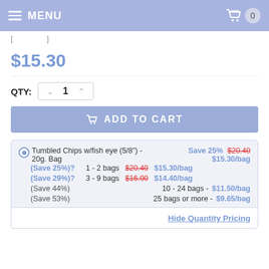MENU | 0
$15.30
QTY: 1
ADD TO CART
| Product | Save | Original Price | Sale Price |
| --- | --- | --- | --- |
| Tumbled Chips w/fish eye (5/8") - 20g. Bag | Save 25% | $20.40 | $15.30/bag |
| (Save 25%)? 1 - 2 bags |  | $20.40 | $15.30/bag |
| (Save 29%)? 3 - 9 bags |  | $16.00 | $14.40/bag |
| (Save 44%) 10 - 24 bags |  |  | -$11.50/bag |
| (Save 53%) 25 bags or more |  |  | $9.65/bag |
Hide Quantity Pricing